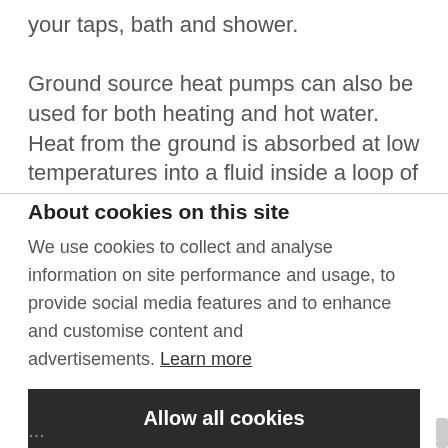your taps, bath and shower.

Ground source heat pumps can also be used for both heating and hot water. Heat from the ground is absorbed at low temperatures into a fluid inside a loop of
About cookies on this site
We use cookies to collect and analyse information on site performance and usage, to provide social media features and to enhance and customise content and advertisements. Learn more
Allow all cookies
COOKIE SETTINGS
…partially visible bottom text…